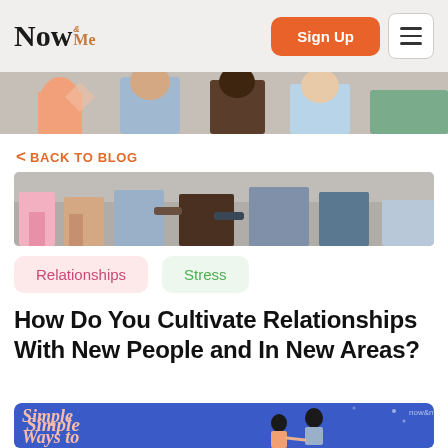Now & Me | Sign Up | Menu
< BACK TO BLOG
[Figure (illustration): Cropped illustration of a group of diverse people standing together, partially visible]
Relationships
Stress
How Do You Cultivate Relationships With New People and In New Areas?
[Figure (illustration): Blue background illustration with text 'Simple Ways to Be a Better' in pink cursive font, with cartoon figures of two people shaking hands]